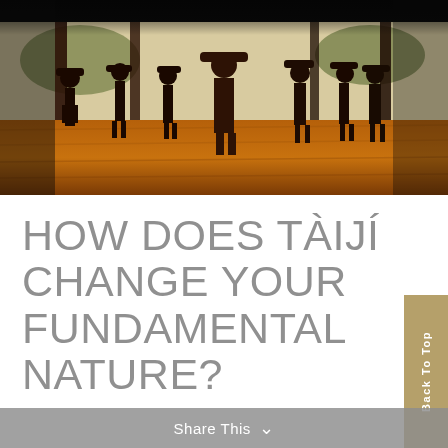[Figure (photo): Group of people silhouetted against bright outdoor light practicing Taiji/martial arts on a wooden pavilion floor with raised arms, warm reddish-brown tones]
HOW DOES TÀIJÍ CHANGE YOUR FUNDAMENTAL NATURE?
Share This